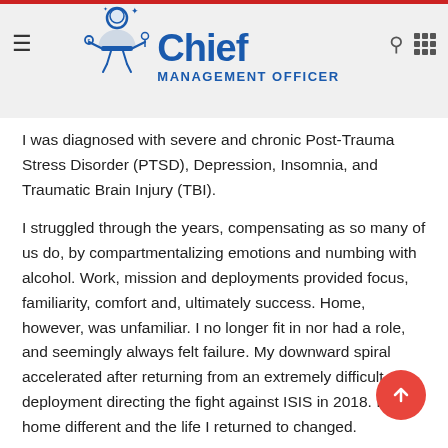Chief Management Officer
I was diagnosed with severe and chronic Post-Trauma Stress Disorder (PTSD), Depression, Insomnia, and Traumatic Brain Injury (TBI).
I struggled through the years, compensating as so many of us do, by compartmentalizing emotions and numbing with alcohol. Work, mission and deployments provided focus, familiarity, comfort and, ultimately success. Home, however, was unfamiliar. I no longer fit in nor had a role, and seemingly always felt failure. My downward spiral accelerated after returning from an extremely difficult deployment directing the fight against ISIS in 2018. I came home different and the life I returned to changed.
This was the second long deployment in two years after spending a tough year in Afghanistan and my marriage was